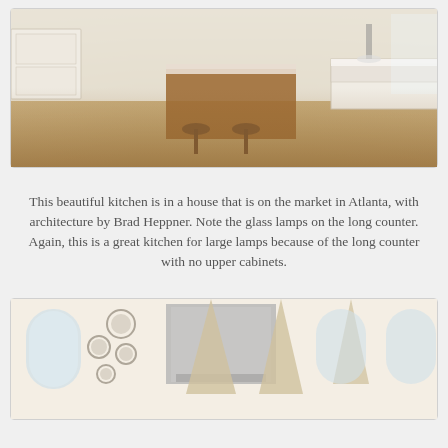[Figure (photo): Beautiful white kitchen interior in an Atlanta house with architecture by Brad Heppner, featuring white cabinetry, a wooden kitchen island with stools, hardwood floors, and glass lamps on a long counter with no upper cabinets.]
This beautiful kitchen is in a house that is on the market in Atlanta, with architecture by Brad Heppner. Note the glass lamps on the long counter. Again, this is a great kitchen for large lamps because of the long counter with no upper cabinets.
[Figure (photo): Bright white kitchen with arched windows, a large stainless steel range hood, decorative plates on the wall, and woven pendant lamp shades hanging from the ceiling.]